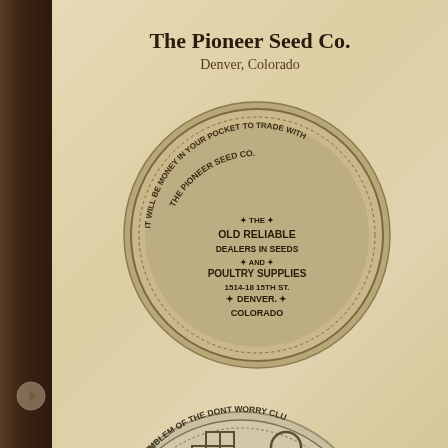The Pioneer Seed Co.
Denver, Colorado
[Figure (photo): Photograph of a round metal trade token/coin for The Pioneer Seed Co. Text on coin reads: IT WILL BE MONEY IN YOUR POCKET TO TRADE WITH THE PIONEER SEED CO., THE OLD RELIABLE DEALERS IN SEEDS AND POULTRY SUPPLIES, 1514-18 15TH ST., DENVER, COLORADO]
[Figure (photo): Photograph of the reverse side of a round metal trade token/coin, partially visible, showing MEMBERSHIP EMBLEM OF THE DONT WORRY CLU[B] with a swastika (good luck symbol) design and horseshoe and clover symbols]